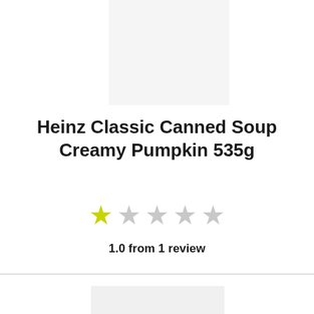[Figure (photo): Product image placeholder (light gray rectangle) at top center]
Heinz Classic Canned Soup Creamy Pumpkin 535g
[Figure (other): Star rating display: 1 filled yellow star followed by 4 empty gray stars]
1.0 from 1 review
[Figure (photo): Product image placeholder (light gray rectangle) at bottom center]